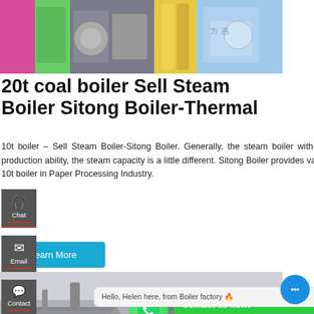[Figure (photo): Top banner photo collage showing industrial boiler equipment in a factory setting with colorful machinery parts]
20t coal boiler Sell Steam Boiler Sitong Boiler-Thermal
10t boiler – Sell Steam Boiler-Sitong Boiler. Generally, the steam boiler with 0.5ton~2ton capacity is enough for a brewery, while, based on the production ability, the steam capacity is a little different. Sitong Boiler provides various models of 10t boiler and hot water that necessary to the brewery. 10t boiler in Paper Processing Industry.
Learn More
[Figure (photo): Bottom photo showing large industrial steam boilers in a factory with yellow pipe fixtures]
Chat
Email
Contact
Contact us now!
Hello, Helen here, from Boiler factory 🔥